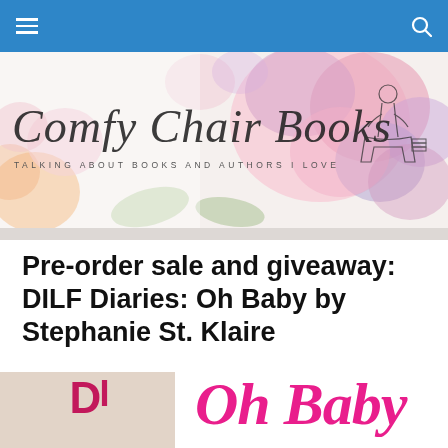Navigation bar with hamburger menu and search icon
[Figure (illustration): Comfy Chair Books blog banner with watercolor floral background, script logo text 'Comfy Chair Books' and subtitle 'TALKING ABOUT BOOKS AND AUTHORS I LOVE', with a line-art illustration of a woman reading in a chair]
Pre-order sale and giveaway: DILF Diaries: Oh Baby by Stephanie St. Klaire
[Figure (photo): Bottom portion of book cover image showing 'DI' letters on left side (beige/tan background) and 'Oh Baby' in large pink script on right side]